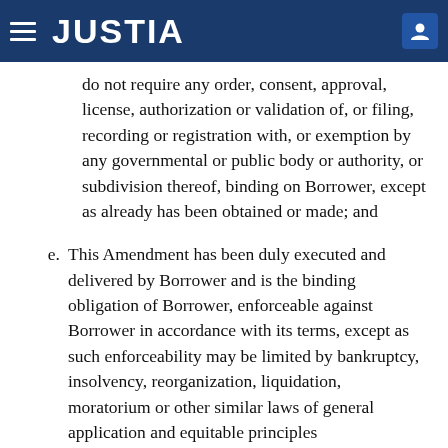JUSTIA
do not require any order, consent, approval, license, authorization or validation of, or filing, recording or registration with, or exemption by any governmental or public body or authority, or subdivision thereof, binding on Borrower, except as already has been obtained or made; and
e. This Amendment has been duly executed and delivered by Borrower and is the binding obligation of Borrower, enforceable against Borrower in accordance with its terms, except as such enforceability may be limited by bankruptcy, insolvency, reorganization, liquidation, moratorium or other similar laws of general application and equitable principles